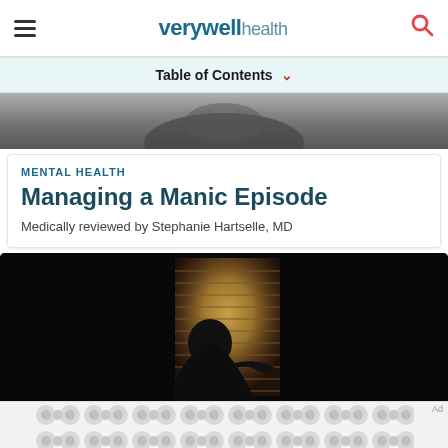verywell health
Table of Contents
[Figure (photo): Partial view of a person, close-up, top portion cropped]
MENTAL HEALTH
Managing a Manic Episode
Medically reviewed by Stephanie Hartselle, MD
[Figure (photo): Silhouette of a person looking out a window with blinds, dark atmospheric photo]
[Figure (other): Advertisement placeholder with decorative dot pattern]